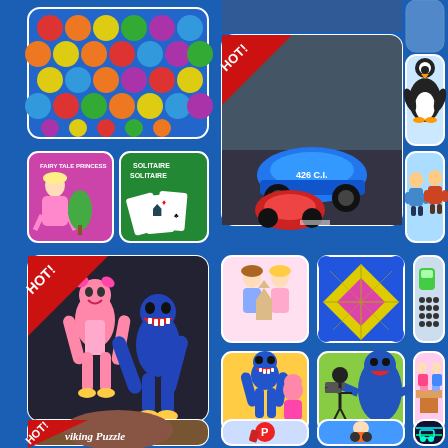[Figure (screenshot): Game app grid showing colorful mobile games including bubble puzzle, racing car, penguin, fairy tale princess, solitaire, Huggy Wuggy horror game, dress-up game, geometric puzzle, parking game, action games, Viking puzzle, and more on blue background]